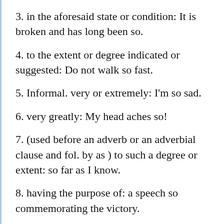3. in the aforesaid state or condition: It is broken and has long been so.
4. to the extent or degree indicated or suggested: Do not walk so fast.
5. Informal. very or extremely: I'm so sad.
6. very greatly: My head aches so!
7. (used before an adverb or an adverbial clause and fol. by as ) to such a degree or extent: so far as I know.
8. having the purpose of: a speech so commemorating the victory.